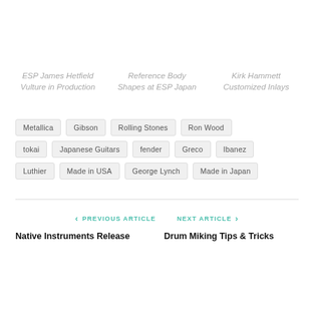ESP James Hetfield Vulture in Production
Reference Body Shapes at ESP Japan
Kirk Hammett Customized Inlays
Metallica
Gibson
Rolling Stones
Ron Wood
tokai
Japanese Guitars
fender
Greco
Ibanez
Luthier
Made in USA
George Lynch
Made in Japan
PREVIOUS ARTICLE
NEXT ARTICLE
Native Instruments Release
Drum Miking Tips & Tricks